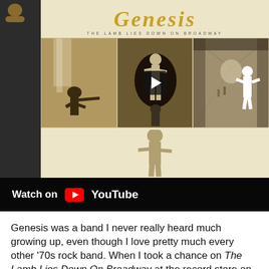[Figure (screenshot): YouTube video embed showing Genesis 'The Lamb Lies Down On Broadway' album art with play button overlay, and 'Watch on YouTube' bar at the bottom of the video frame.]
Genesis was a band I never really heard much growing up, even though I love pretty much every other '70s rock band. When I took a chance on The Lamb Lies Down On Broadway at the record store on